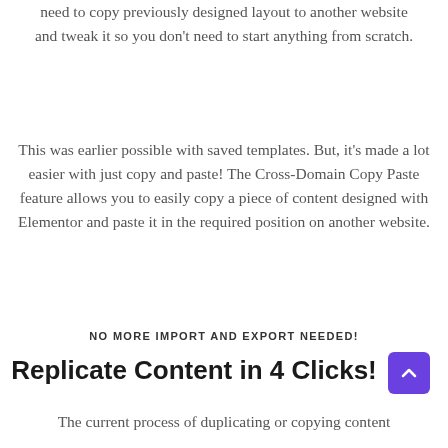need to copy previously designed layout to another website and tweak it so you don't need to start anything from scratch.
This was earlier possible with saved templates. But, it's made a lot easier with just copy and paste! The Cross-Domain Copy Paste feature allows you to easily copy a piece of content designed with Elementor and paste it in the required position on another website.
NO MORE IMPORT AND EXPORT NEEDED!
Replicate Content in 4 Clicks!
The current process of duplicating or copying content